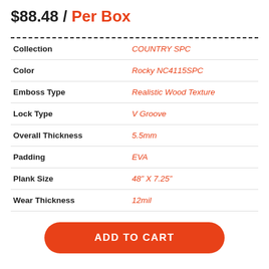$88.48 / Per Box
| Attribute | Value |
| --- | --- |
| Collection | COUNTRY SPC |
| Color | Rocky NC4115SPC |
| Emboss Type | Realistic Wood Texture |
| Lock Type | V Groove |
| Overall Thickness | 5.5mm |
| Padding | EVA |
| Plank Size | 48" X 7.25" |
| Wear Thickness | 12mil |
ADD TO CART